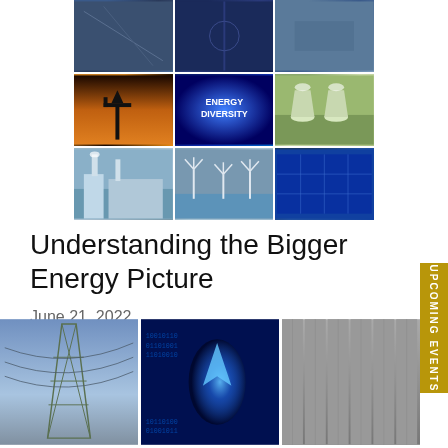[Figure (photo): 3x3 collage of energy diversity images: oil pump jack at sunset, 'Energy Diversity' text on blue background, nuclear cooling towers, industrial facility, wind turbines offshore, solar panels, and three additional energy infrastructure photos at top]
Understanding the Bigger Energy Picture
June 21, 2022
[Figure (photo): Three photos side by side: electricity transmission tower against cloudy sky, blue digital/cybersecurity glowing image, hydroelectric dam intake structure]